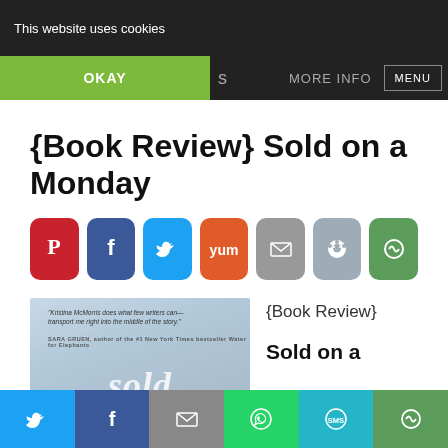This website uses cookies
OKAY  MORE INFO  MENU
{Book Review} Sold on a Monday
[Figure (infographic): Row of social share buttons: Pinterest (red), Facebook (dark blue), Twitter (light blue), Yummly (orange), Email (grey), Reddit (steel blue), More (green)]
[Figure (photo): Book cover of 'Sold on a Monday' by Kristina McMorris with foggy blue-grey background and cursive 'sold' text]
{Book Review}
Sold on a
[Figure (infographic): Bottom share bar with Twitter, Facebook, Email, WhatsApp, SMS, and More buttons]